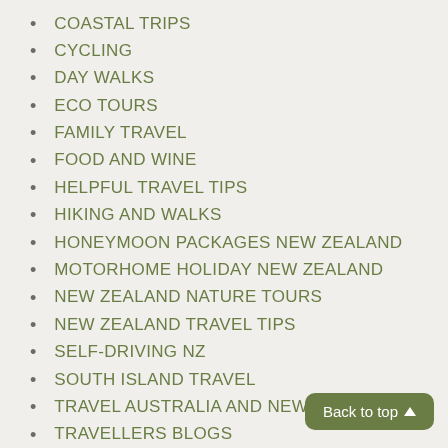COASTAL TRIPS
CYCLING
DAY WALKS
ECO TOURS
FAMILY TRAVEL
FOOD AND WINE
HELPFUL TRAVEL TIPS
HIKING AND WALKS
HONEYMOON PACKAGES NEW ZEALAND
MOTORHOME HOLIDAY NEW ZEALAND
NEW ZEALAND NATURE TOURS
NEW ZEALAND TRAVEL TIPS
SELF-DRIVING NZ
SOUTH ISLAND TRAVEL
TRAVEL AUSTRALIA AND NEW…
TRAVELLERS BLOGS